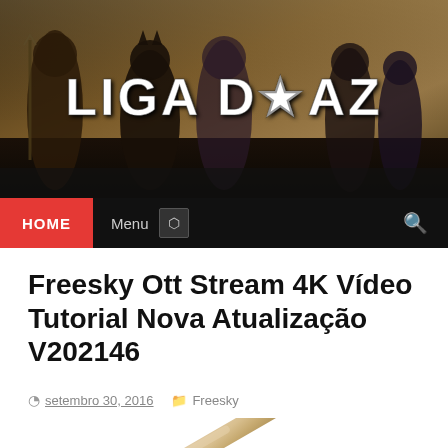[Figure (photo): Liga do AZ website header banner featuring Justice League superhero characters (Aquaman, Batman, Superman, Wonder Woman, The Flash) with the text 'LIGA DO AZ' in large bold white letters with a star icon]
HOME  Menu  🔍
Freesky Ott Stream 4K Vídeo Tutorial Nova Atualização V202146
setembro 30, 2016  Freesky
[Figure (photo): Close-up photo of a remote control device at an angle, showing the top portion of a gold/beige colored rounded remote]